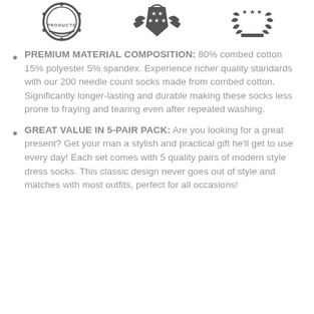[Figure (illustration): Three dark circular/shield badge icons/stamps arranged in a row at the top of the page]
PREMIUM MATERIAL COMPOSITION: 80% combed cotton 15% polyester 5% spandex. Experience richer quality standards with our 200 needle count socks made from combed cotton. Significantly longer-lasting and durable making these socks less prone to fraying and tearing even after repeated washing.
GREAT VALUE IN 5-PAIR PACK: Are you looking for a great present? Get your man a stylish and practical gift he'll get to use every day! Each set comes with 5 quality pairs of modern style dress socks. This classic design never goes out of style and matches with most outfits, perfect for all occasions!